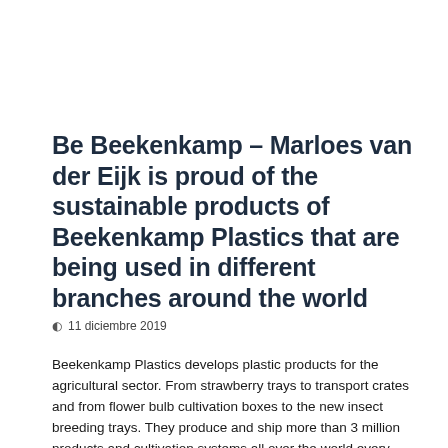Be Beekenkamp – Marloes van der Eijk is proud of the sustainable products of Beekenkamp Plastics that are being used in different branches around the world
11 diciembre 2019
Beekenkamp Plastics develops plastic products for the agricultural sector. From strawberry trays to transport crates and from flower bulb cultivation boxes to the new insect breeding trays. They produce and ship more than 3 million products and cultivation systems all over the world every year.